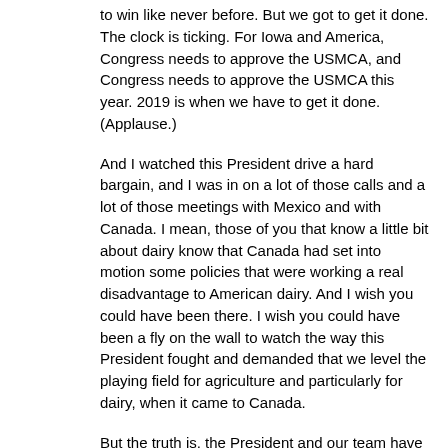to win like never before.  But we got to get it done.  The clock is ticking.  For Iowa and America, Congress needs to approve the USMCA, and Congress needs to approve the USMCA this year.  2019 is when we have to get it done.  (Applause.)
And I watched this President drive a hard bargain, and I was in on a lot of those calls and a lot of those meetings with Mexico and with Canada.  I mean, those of you that know a little bit about dairy know that Canada had set into motion some policies that were working a real disadvantage to American dairy.  And I wish you could have been there.  I wish you could have been a fly on the wall to watch the way this President fought and demanded that we level the playing field for agriculture and particularly for dairy, when it came to Canada.
But the truth is, the President and our team have done our jobs.  It's time for Congress to do their job.  And so I'm going to ask you to do us a favor here.  I want you to talk, here in Iowa, about what the USMCA is going to mean to companies just like this.
I mean, talk to Roger.  Talk to folks in this company about the incredible technology that you build here and already send around the world, and the impact that this trade agreement is going to have — and not just on our exports to Canada and to Mexico.  But truthfully, when we pass the largest trade deal in American history, it's also going to be the most modern trade